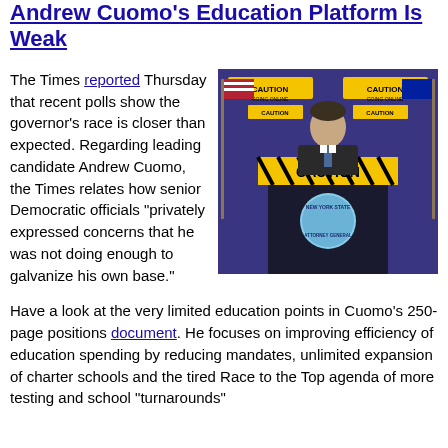Andrew Cuomo's Education Platform Is Weak
[Figure (photo): Andrew Cuomo standing at a New York State Attorney General podium with a 'CAUTION GOING ONLINE' banner in the background and American flags on either side.]
The Times reported Thursday that recent polls show the governor's race is closer than expected. Regarding leading candidate Andrew Cuomo, the Times relates how senior Democratic officials "privately expressed concerns that he was not doing enough to galvanize his own base."
Have a look at the very limited education points in Cuomo's 250-page positions document. He focuses on improving efficiency of education spending by reducing mandates, unlimited expansion of charter schools and the tired Race to the Top agenda of more testing and school "turnarounds"